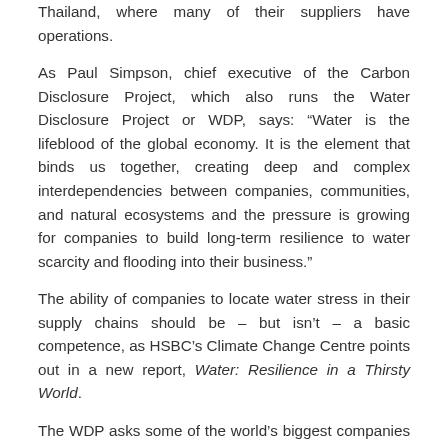Thailand, where many of their suppliers have operations.
As Paul Simpson, chief executive of the Carbon Disclosure Project, which also runs the Water Disclosure Project or WDP, says: “Water is the lifeblood of the global economy. It is the element that binds us together, creating deep and complex interdependencies between companies, communities, and natural ecosystems and the pressure is growing for companies to build long-term resilience to water scarcity and flooding into their business.”
The ability of companies to locate water stress in their supply chains should be – but isn’t – a basic competence, as HSBC’s Climate Change Centre points out in a new report, Water: Resilience in a Thirsty World.
The WDP asks some of the world’s biggest companies to disclose their water risks and the strategies they are using to deal with them. The 2012 report reveals that over half of the companies that responded—53 percent, up from 38 percent in 2011— have experienced negative impacts from water-related challenges including water scarcity, flooding, rising compliance costs, regulatory